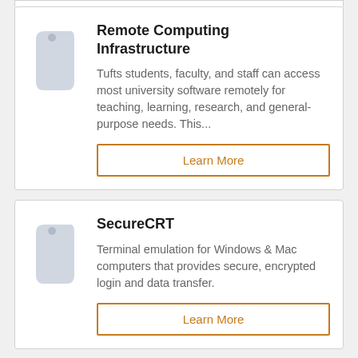Remote Computing Infrastructure
Tufts students, faculty, and staff can access most university software remotely for teaching, learning, research, and general-purpose needs. This...
Learn More
SecureCRT
Terminal emulation for Windows & Mac computers that provides secure, encrypted login and data transfer.
Learn More